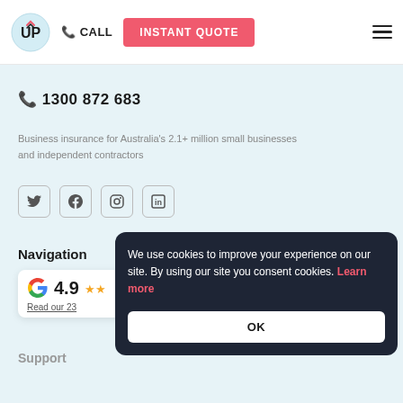[Figure (logo): UP Insurance logo - circular badge with UP lettering]
📞 CALL
INSTANT QUOTE
☎ 1300 872 683
Business insurance for Australia's 2.1+ million small businesses and independent contractors
[Figure (illustration): Social media icons row: Twitter, Facebook, Instagram, LinkedIn]
Navigation
[Figure (other): Google review card showing 4.9 rating with stars]
Read our 23
Support
We use cookies to improve your experience on our site. By using our site you consent cookies. Learn more
OK